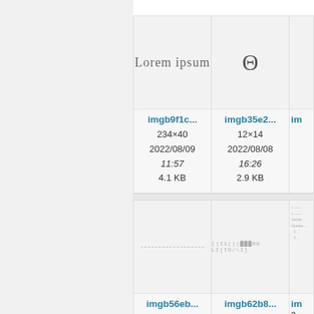[Figure (screenshot): Image gallery/file browser showing thumbnail cards. Top row: card 1 shows 'Lorem ipsum' text thumbnail (imgb9f1c..., 234×40, 2022/08/09 11:57, 4.1 KB), card 2 shows theta symbol Θ thumbnail (imgb35e2..., 12×14, 2022/08/08 16:26, 2.9 KB), card 3 partially visible. Bottom row: card 1 shows dashed line thumbnail (imgb56eb..., 574×17, 2022/08/08 23:24, 4.8 KB), card 2 shows barcode-like text thumbnail (imgb62b8..., 367×33, 2022/08/09 14:06, 4.9 KB), card 3 partially visible.]